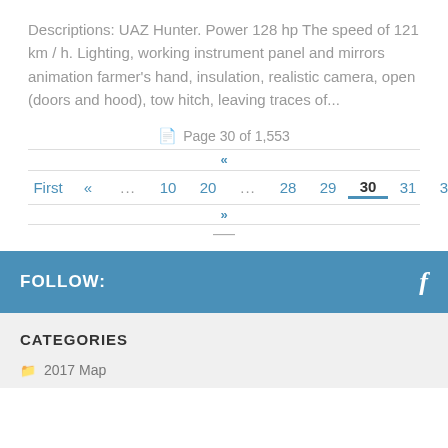Descriptions: UAZ Hunter. Power 128 hp The speed of 121 km / h. Lighting, working instrument panel and mirrors animation farmer's hand, insulation, realistic camera, open (doors and hood), tow hitch, leaving traces of...
Page 30 of 1,553
First « ... 10 20 ... 28 29 30 31 32 ...
FOLLOW:
CATEGORIES
2017 Map